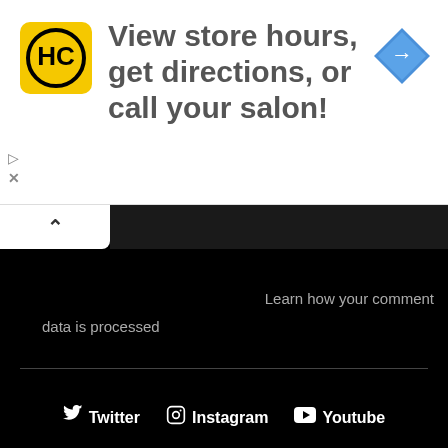[Figure (screenshot): Advertisement banner for HC (Hair Club or similar salon brand). Yellow square logo with 'HC' text in black circle. Text reads 'View store hours, get directions, or call your salon!' with a blue diamond navigation arrow icon on the right.]
Learn how your comment data is processed
Twitter  Instagram  Youtube